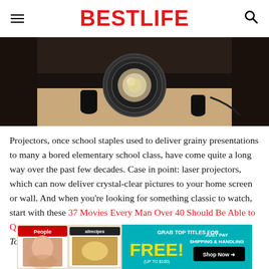BESTLIFE
[Figure (photo): Close-up photo of a projector lens from below, dark device on light surface, sepia/warm tones]
Projectors, once school staples used to deliver grainy presentations to many a bored elementary school class, have come quite a long way over the past few decades. Case in point: laser projectors, which can now deliver crystal-clear pictures to your home screen or wall. And when you're looking for something classic to watch, start with these 37 Movies Every Man Over 40 Should Be Able to Quote.
To dis... r best life...
[Figure (screenshot): Advertisement banner: People and allrecipes magazines, grab top titles for FREE (up to $100) just pay shipping & handling, Shop Now arrow button]